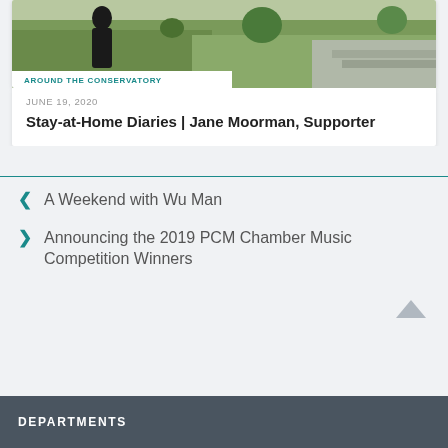[Figure (photo): Outdoor photo showing a person in a black dress on a grassy area with steps and trees in the background]
AROUND THE CONSERVATORY
JUNE 19, 2020
Stay-at-Home Diaries | Jane Moorman, Supporter
A Weekend with Wu Man
Announcing the 2019 PCM Chamber Music Competition Winners
DEPARTMENTS